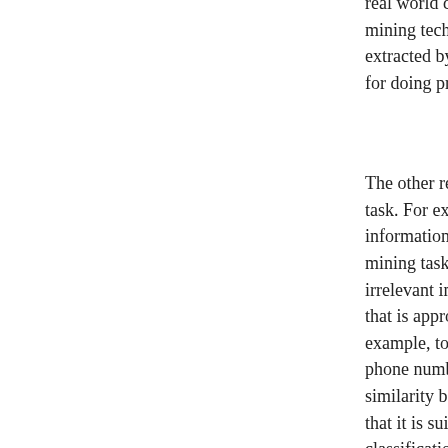real world database may contains many problems. If you apply data mining techniques on bad data, then there is a chance that the patterns extracted by a data mining algorithm will also be bad. So, it is important for doing pre-processing and cleaning the data.
The other reason is that in a database, not all the data is relevant to the task. For example, if you have customer records, it may contain a lot of information about people. But not all this information is relevant to data mining tasks. Thus often, some people will pre-process the data by removing irrelevant information before doing data mining. Also, to do data mining that is appropriate for the data mining algorithm is also a reason. For example, to cluster bank customers, one may choose to ignore the phone number, and the address, since it may not be useful to measure similarity between customers. Moreover, one may need to transform data so that it is suitable for an algorithm. For example, if you want to do classification on some data, the ID3 algorithm only handles nominal data. Thus, you have to do some pre-processing to transform data into nominal values to apply ID3.